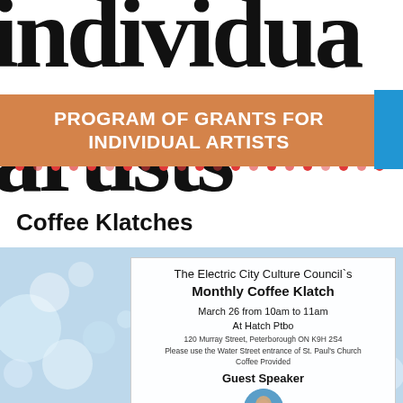[Figure (logo): Large typographic logo showing partial text 'individua' on top and 'artists' on bottom with red dots decoration, orange banner overlay reading PROGRAM OF GRANTS FOR INDIVIDUAL ARTISTS, and blue accent square]
PROGRAM OF GRANTS FOR INDIVIDUAL ARTISTS
Coffee Klatches
[Figure (infographic): Event flyer card on bokeh background: The Electric City Culture Council's Monthly Coffee Klatch, March 26 from 10am to 11am, At Hatch Ptbo, 120 Murray Street, Peterborough ON K9H 2S4, Please use the Water Street entrance of St. Paul's Church, Coffee Provided, Guest Speaker with a photo of a person]